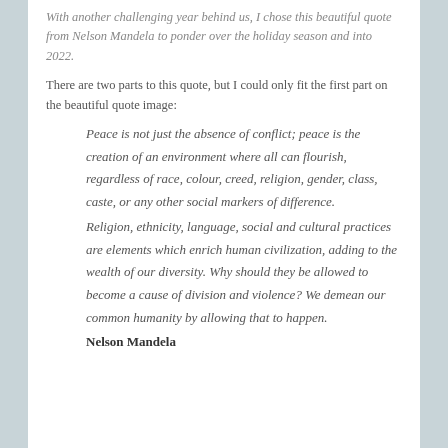With another challenging year behind us, I chose this beautiful quote from Nelson Mandela to ponder over the holiday season and into 2022.
There are two parts to this quote, but I could only fit the first part on the beautiful quote image:
Peace is not just the absence of conflict; peace is the creation of an environment where all can flourish, regardless of race, colour, creed, religion, gender, class, caste, or any other social markers of difference.
Religion, ethnicity, language, social and cultural practices are elements which enrich human civilization, adding to the wealth of our diversity. Why should they be allowed to become a cause of division and violence? We demean our common humanity by allowing that to happen.
Nelson Mandela